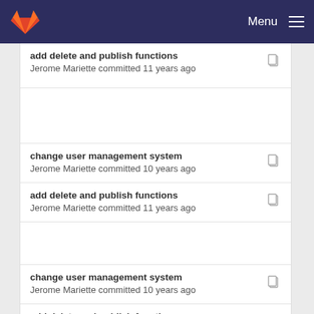GitLab — Menu
add delete and publish functions
Jerome Mariette committed 11 years ago
change user management system
Jerome Mariette committed 10 years ago
add delete and publish functions
Jerome Mariette committed 11 years ago
change user management system
Jerome Mariette committed 10 years ago
add delete and publish functions
Jerome Mariette committed 11 years ago
change user management system
Jerome Mariette committed 10 years ago